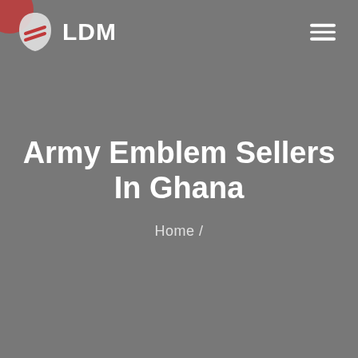[Figure (logo): LDM logo with shield/leaf icon containing red stripes, followed by bold white text 'LDM'. Hamburger menu icon on the right side of the header. Decorative red and pink circles in the top-left corner.]
Army Emblem Sellers In Ghana
Home /